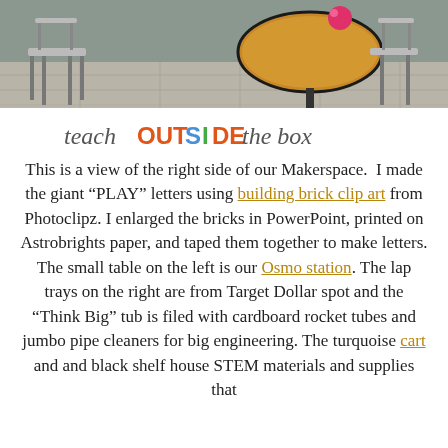[Figure (photo): Photo of a classroom makerspace area with a round wooden table and chairs, pink ball on the table, tile floor visible in background.]
[Figure (logo): teachOUTSIDEthe box logo with colorful mixed typography]
This is a view of the right side of our Makerspace. I made the giant “PLAY” letters using building brick clip art from Photoclipz. I enlarged the bricks in PowerPoint, printed on Astrobrights paper, and taped them together to make letters. The small table on the left is our Osmo station. The lap trays on the right are from Target Dollar spot and the “Think Big” tub is filed with cardboard rocket tubes and jumbo pipe cleaners for big engineering. The turquoise cart and and black shelf house STEM materials and supplies that